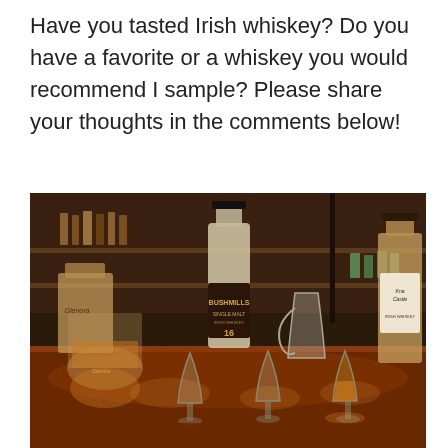Have you tasted Irish whiskey? Do you have a favorite or a whiskey you would recommend I sample? Please share your thoughts in the comments below!
[Figure (photo): A bar scene with several Irish whiskey bottles including a central Bushmills Single Malt 16 bottle, flanked by other bottles including Knappogue Castle, and multiple Glencairn whiskey glasses on a dark wooden bar, with a glowing warm amber color suggesting whiskey in the glasses. Bar shelves with bottles visible in the background.]